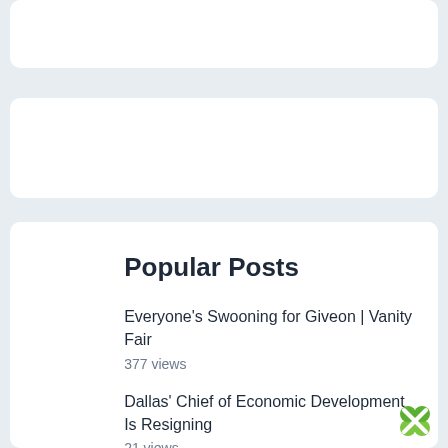[Figure (other): White card placeholder at top]
[Figure (other): White card placeholder in middle]
Popular Posts
Everyone’s Swooning for Giveon | Vanity Fair
377 views
Dallas’ Chief of Economic Development Is Resigning
21 views